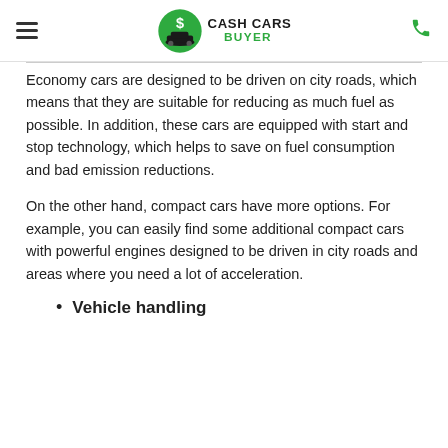Cash Cars Buyer
Economy cars are designed to be driven on city roads, which means that they are suitable for reducing as much fuel as possible. In addition, these cars are equipped with start and stop technology, which helps to save on fuel consumption and bad emission reductions.
On the other hand, compact cars have more options. For example, you can easily find some additional compact cars with powerful engines designed to be driven in city roads and areas where you need a lot of acceleration.
Vehicle handling